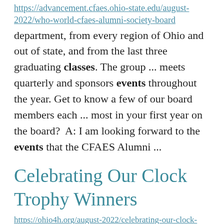https://advancement.cfaes.ohio-state.edu/august-2022/who-world-cfaes-alumni-society-board
department, from every region of Ohio and out of state, and from the last three graduating classes. The group ... meets quarterly and sponsors events throughout the year. Get to know a few of our board members each ... most in your first year on the board?  A: I am looking forward to the events that the CFAES Alumni ...
Celebrating Our Clock Trophy Winners
https://ohio4h.org/august-2022/celebrating-our-clock-trophy-winners
project class at this year's Ohio State Fair,